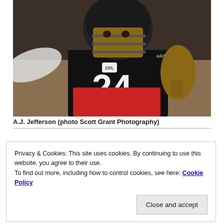[Figure (photo): A football player wearing a black jersey with number 24 and red shorts, wearing a helmet with face guard, crouched in an athletic stance on a practice field. The jersey shows a CFL logo patch and Adidas branding.]
A.J. Jefferson (photo Scott Grant Photography)
Privacy & Cookies: This site uses cookies. By continuing to use this website, you agree to their use.
To find out more, including how to control cookies, see here: Cookie Policy
Close and accept